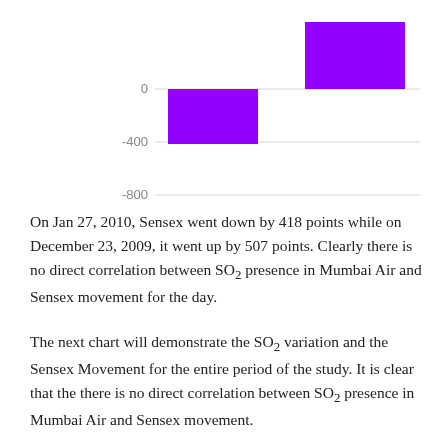[Figure (bar-chart): ]
On Jan 27, 2010, Sensex went down by 418 points while on December 23, 2009, it went up by 507 points. Clearly there is no direct correlation between SO2 presence in Mumbai Air and Sensex movement for the day.
The next chart will demonstrate the SO2 variation and the Sensex Movement for the entire period of the study. It is clear that the there is no direct correlation between SO2 presence in Mumbai Air and Sensex movement.